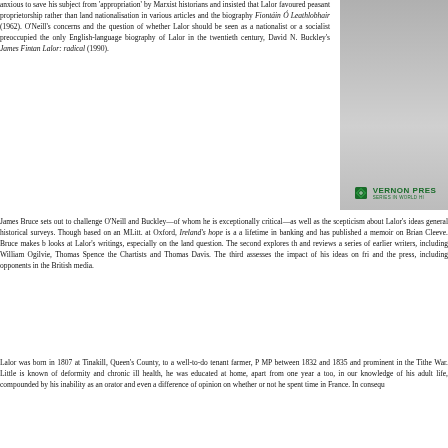anxious to save his subject from 'appropriation' by Marxist historians and insisted that Lalor favoured peasant proprietorship rather than land nationalisation in various articles and the biography Fiontáin Ó Leathlobhair (1962). O'Neill's concerns and the question of whether Lalor should be seen as a nationalist or a socialist preoccupied the only English-language biography of Lalor in the twentieth century, David N. Buckley's James Fintan Lalor: radical (1990).
[Figure (logo): Vernon Press logo with diamond shape and text 'VERNON PRESS' and 'SERIES IN WORLD HI']
James Bruce sets out to challenge O'Neill and Buckley—of whom he is exceptionally critical—as well as the scepticism about Lalor's ideas general historical surveys. Though based on an MLitt. at Oxford, Ireland's hope is a a lifetime in banking and has published a memoir on Brian Cleeve. Bruce makes b looks at Lalor's writings, especially on the land question. The second explores th and reviews a series of earlier writers, including William Ogilvie, Thomas Spence the Chartists and Thomas Davis. The third assesses the impact of his ideas on fri and the press, including opponents in the British media.
Lalor was born in 1807 at Tinakill, Queen's County, to a well-to-do tenant farmer, P MP between 1832 and 1835 and prominent in the Tithe War. Little is known of deformity and chronic ill health, he was educated at home, apart from one year a too, in our knowledge of his adult life, compounded by his inability as an orator and even a difference of opinion on whether or not he spent time in France. In consequ